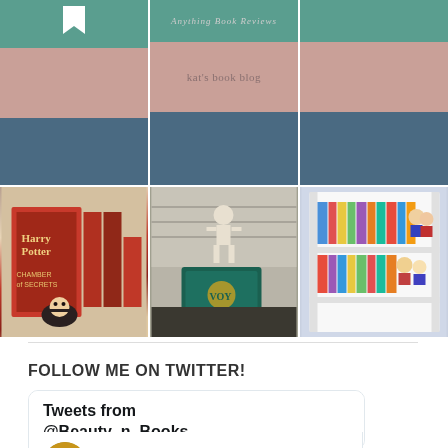[Figure (photo): Three blog header images in a horizontal grid: left shows a teal bar with bookmark icon, pink bar, and blue bar; center shows teal bar with blog title text 'kat's book blog', pink bar, and blue bar; right shows plain teal, pink, and blue bars.]
[Figure (photo): Grid of three photos: Harry Potter and the Chamber of Secrets book with a Harry Potter Funko Pop figure; a teal Voyager book in front of a skeleton figurine in meditation pose; a colorful bookshelf with Funko Pop figures.]
FOLLOW ME ON TWITTER!
[Figure (screenshot): Twitter widget card showing 'Tweets from @Beauty_n_Books' header, and a tweet from user 'Treestan...' handle '@B... · 13h' with Twitter bird icon and avatar showing books.]